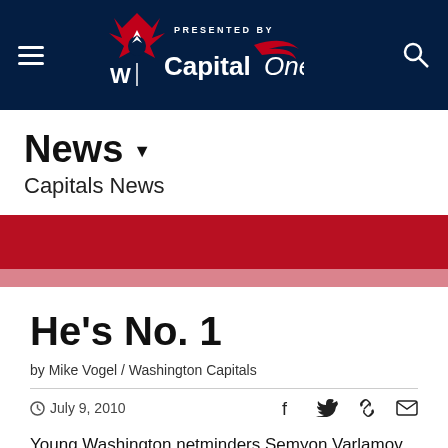PRESENTED BY Capital One
News
Capitals News
[Figure (illustration): Red banner/divider stripe across page]
He's No. 1
by Mike Vogel / Washington Capitals
July 9, 2010
Young Washington netminders Semyon Varlamov and